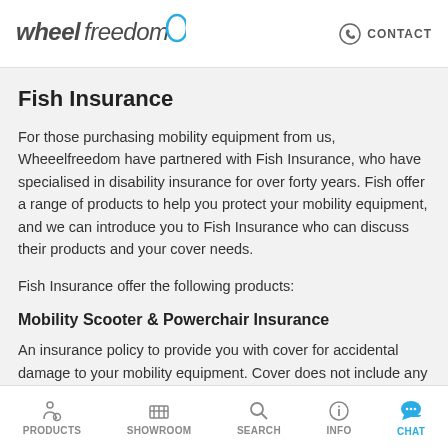wheelfreedom | CONTACT
Fish Insurance
For those purchasing mobility equipment from us, Wheeelfreedom have partnered with Fish Insurance, who have specialised in disability insurance for over forty years. Fish offer a range of products to help you protect your mobility equipment, and we can introduce you to Fish Insurance who can discuss their products and your cover needs.
Fish Insurance offer the following products:
Mobility Scooter & Powerchair Insurance
An insurance policy to provide you with cover for accidental damage to your mobility equipment. Cover does not include any
PRODUCTS | SHOWROOM | SEARCH | INFO | CHAT